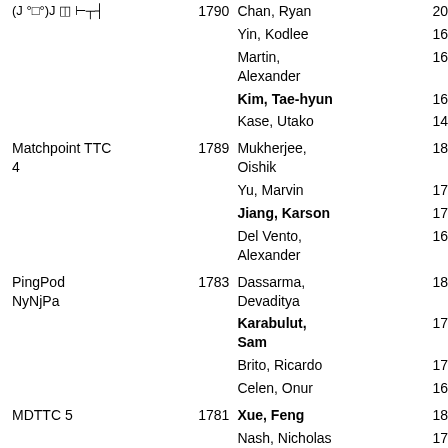| Club | Rating | Name | Age |
| --- | --- | --- | --- |
| (J °□°)J ◫ ⊢┬┤ | 1790 | Chan, Ryan | 20 |
|  |  | Yin, Kodlee | 16 |
|  |  | Martin, Alexander | 16 |
|  |  | Kim, Tae-hyun | 16 |
|  |  | Kase, Utako | 14 |
| Matchpoint TTC 4 | 1789 | Mukherjee, Oishik | 18 |
|  |  | Yu, Marvin | 17 |
|  |  | Jiang, Karson | 17 |
|  |  | Del Vento, Alexander | 16 |
| PingPod NyNjPa | 1783 | Dassarma, Devaditya | 18 |
|  |  | Karabulut, Sam | 17 |
|  |  | Brito, Ricardo | 17 |
|  |  | Celen, Onur | 16 |
| MDTTC 5 | 1781 | Xue, Feng | 18 |
|  |  | Nash, Nicholas | 17 |
|  |  | Yang, Riley | 17 |
|  |  | Kumar, Arjun | 17 |
|  |  | Hsu, Kurtus | 17 |
| Raleigh TT | 1772 | Dreano, Daniel | 18 |
|  |  | Jones, Mike | 17 |